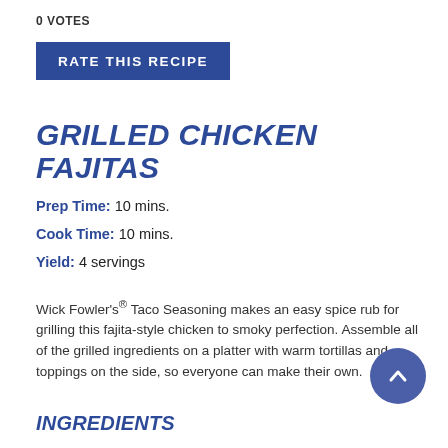0 VOTES
RATE THIS RECIPE
GRILLED CHICKEN FAJITAS
Prep Time: 10 mins.
Cook Time: 10 mins.
Yield: 4 servings
Wick Fowler’s® Taco Seasoning makes an easy spice rub for grilling this fajita-style chicken to smoky perfection. Assemble all of the grilled ingredients on a platter with warm tortillas and toppings on the side, so everyone can make their own.
INGREDIENTS